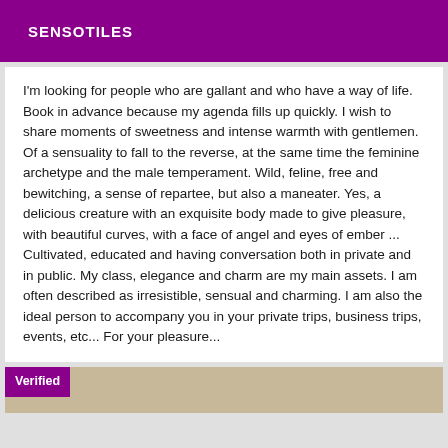SENSOTILES
I'm looking for people who are gallant and who have a way of life. Book in advance because my agenda fills up quickly. I wish to share moments of sweetness and intense warmth with gentlemen. Of a sensuality to fall to the reverse, at the same time the feminine archetype and the male temperament. Wild, feline, free and bewitching, a sense of repartee, but also a maneater. Yes, a delicious creature with an exquisite body made to give pleasure, with beautiful curves, with a face of angel and eyes of ember ... Cultivated, educated and having conversation both in private and in public. My class, elegance and charm are my main assets. I am often described as irresistible, sensual and charming. I am also the ideal person to accompany you in your private trips, business trips, events, etc... For your pleasure...
Verified